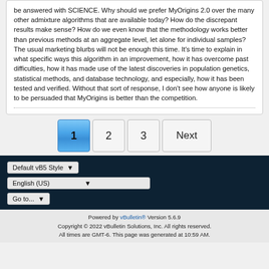be answered with SCIENCE. Why should we prefer MyOrigins 2.0 over the many other admixture algorithms that are available today? How do the discrepant results make sense? How do we even know that the methodology works better than previous methods at an aggregate level, let alone for individual samples? The usual marketing blurbs will not be enough this time. It's time to explain in what specific ways this algorithm in an improvement, how it has overcome past difficulties, how it has made use of the latest discoveries in population genetics, statistical methods, and database technology, and especially, how it has been tested and verified. Without that sort of response, I don't see how anyone is likely to be persuaded that MyOrigins is better than the competition.
1  2  3  Next
Default vB5 Style
English (US)
Go to...
Powered by vBulletin® Version 5.6.9
Copyright © 2022 vBulletin Solutions, Inc. All rights reserved.
All times are GMT-6. This page was generated at 10:59 AM.